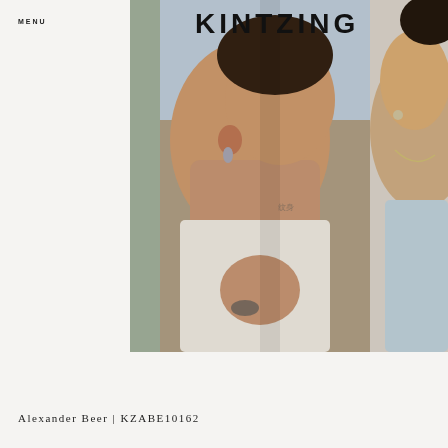MENU
KINTZING
[Figure (photo): Two people in close proximity, one tilting head back, both wearing jewelry including earrings and rings. The person on the left wears a white shirt and has tattoos visible on the neck. Outdoor setting with warm lighting.]
Alexander Beer | KZABE10162